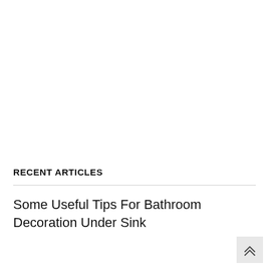RECENT ARTICLES
Some Useful Tips For Bathroom Decoration Under Sink